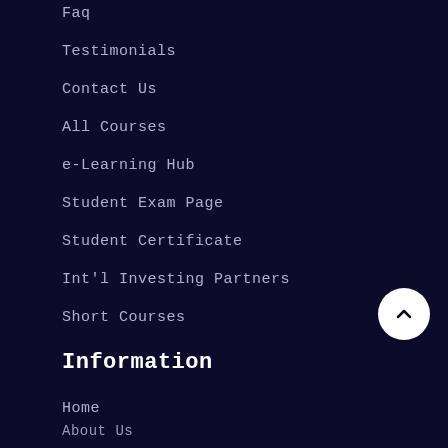Faq
Testimonials
Contact Us
All Courses
e-Learning Hub
Student Exam Page
Student Certificate
Int'l Investing Partners
Short Courses
Information
Home
About Us
Contact Us
Customer Care
Contact Us
Faq